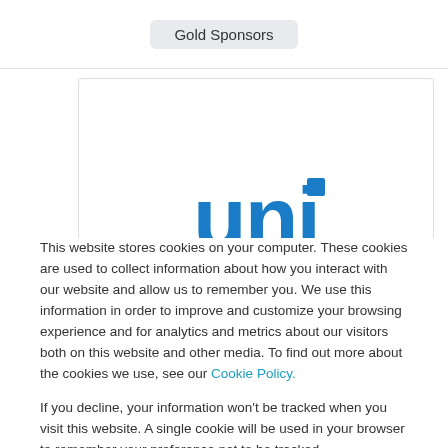Gold Sponsors
[Figure (logo): UniDoc blue logo with 'uni' text and a blue bar beneath]
This website stores cookies on your computer. These cookies are used to collect information about how you interact with our website and allow us to remember you. We use this information in order to improve and customize your browsing experience and for analytics and metrics about our visitors both on this website and other media. To find out more about the cookies we use, see our Cookie Policy.
If you decline, your information won't be tracked when you visit this website. A single cookie will be used in your browser to remember your preference not to be tracked.
Accept
Decline